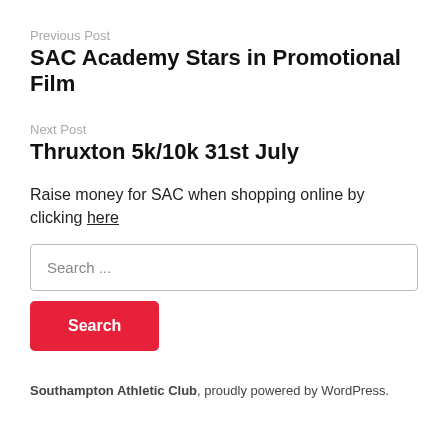Previous Post
SAC Academy Stars in Promotional Film
Next Post
Thruxton 5k/10k 31st July
Raise money for SAC when shopping online by clicking here
Search ...
Search
Southampton Athletic Club, proudly powered by WordPress.